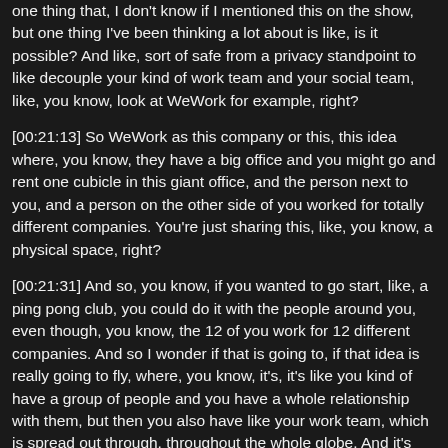one thing that, I don't know if I mentioned this on the show, but one thing I've been thinking a lot about is like, is it possible? And like, sort of safe from a privacy standpoint to like decouple your kind of work team and your social team, like, you know, look at WeWork for example, right?
[00:21:13] So WeWork as this company or this, this idea where, you know, they have a big office and you might go and rent one cubicle in this giant office, and the person next to you, and a person on the other side of you worked for totally different companies. You're just sharing this, like, you know, a physical space, right?
[00:21:31] And so, you know, if you wanted to go start, like, a ping pong club, you could do it with the people around you, even though, you know, the 12 of you work for 12 different companies. And so I wonder if that is going to, if that idea is really going to fly, where, you know, it's, it's like you kind of have a group of people and you have a whole relationship with them, but then you also have like your work team, which is spread out through, throughout the whole globe. And it's sort of like two different social networks, right?
[00:22:00] Patrick Wheeler: Not to get back into the avoiding drama at work you're talking about before. But I think it's been interesting. This thing you're saying a little bit